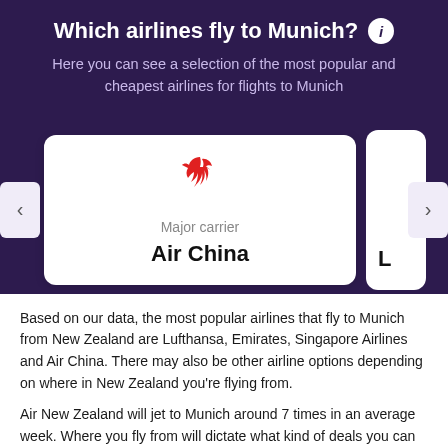Which airlines fly to Munich?
Here you can see a selection of the most popular and cheapest airlines for flights to Munich
[Figure (other): Airline carousel showing Air China card with Air China logo (red phoenix symbol), labeled 'Major carrier', with left and right navigation arrows and a partially visible second card]
Based on our data, the most popular airlines that fly to Munich from New Zealand are Lufthansa, Emirates, Singapore Airlines and Air China. There may also be other airline options depending on where in New Zealand you’re flying from.
Air New Zealand will jet to Munich around 7 times in an average week. Where you fly from will dictate what kind of deals you can get for Air New Zealand, but prices as low as $2,090 have been found for at least this attraction in New Zealand.